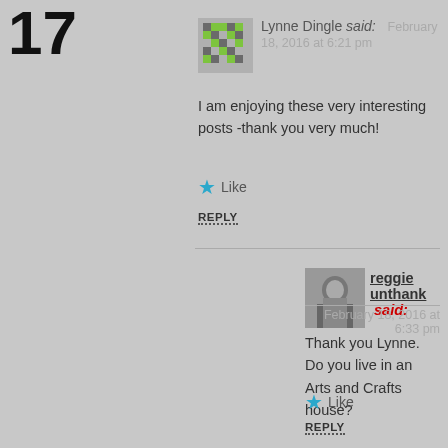17
Lynne Dingle said:   February 18, 2016 at 6:21 pm
I am enjoying these very interesting posts -thank you very much!
Like
REPLY
reggie unthank said:   February 18, 2016 at 6:33 pm
Thank you Lynne. Do you live in an Arts and Crafts house?
Like
REPLY
Alan Theobald said:   February 26, 2016 at 8:49 pm